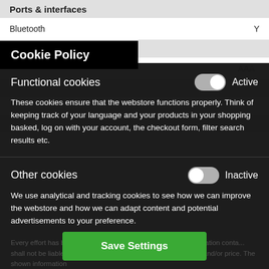Ports & interfaces
Bluetooth	Y
AAA
Cookie Policy
Functional cookies	Active
These cookies ensure that the webstore functions properly. Think of keeping track of your language and your products in your shopping basked, log on with your account, the checkout form, filter search results etc.
Other cookies	Inactive
We use analytical and tracking cookies to see how we can improve the webstore and how we can adapt content and potential advertisements to your preference.
Every effort has been made to ensure the accuracy of all information conta... shall not be liable for any changes... duct description, tax code and/or price. The shown information
Save Settings